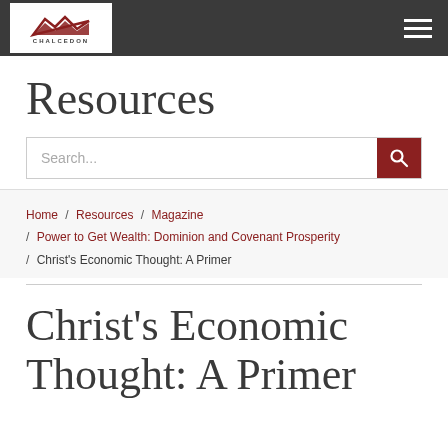CHALCEDON
Resources
Search...
Home / Resources / Magazine / Power to Get Wealth: Dominion and Covenant Prosperity / Christ's Economic Thought: A Primer
Christ's Economic Thought: A Primer